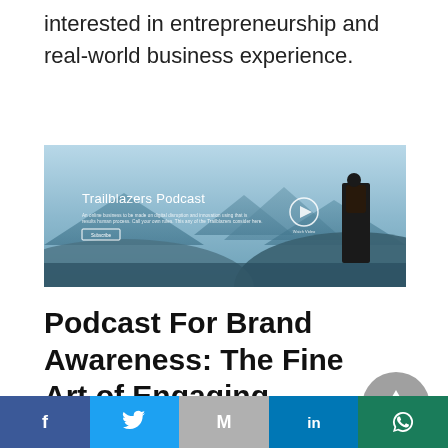interested in entrepreneurship and real-world business experience.
[Figure (screenshot): Screenshot of Trailblazers Podcast website with a hiker silhouette against a mountain landscape background. Shows podcast title, tagline text, Subscribe button, and Watch Video button with play icon.]
Podcast For Brand Awareness: The Fine Art of Engaging Content
[Figure (other): Gray circular scroll-to-top button with upward triangle arrow]
Facebook | Twitter | Gmail | LinkedIn | WhatsApp share buttons